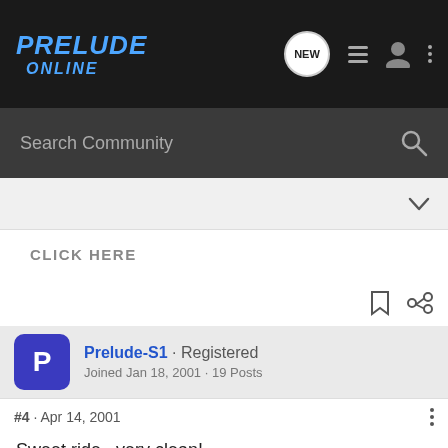PRELUDE ONLINE
Search Community
CLICK HERE
Prelude-S1 · Registered
Joined Jan 18, 2001 · 19 Posts
#4 · Apr 14, 2001
Sweet ride...very clean!
[Figure (screenshot): Advertisement banner: Ad label, scenic winter image with Rollic logo, text 'They Are Coming!', Download link]